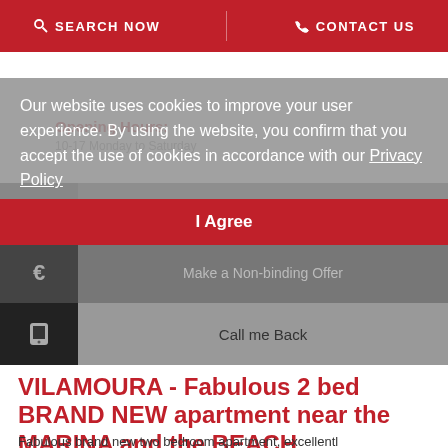SEARCH NOW  |  CONTACT US
Opening Hours:
10-17 Monday to Saturday
Visit this Property
Make a Non-binding Offer
Call me Back
Our website uses cookies to improve your user experience. By using the website, you confirm that you accept the use of cookies in accordance with our Privacy Policy
I Agree
VILAMOURA - Fabulous 2 bed BRAND NEW apartment near the MARINA and the BEACH
Fabulous brand new two bedroom apartment, excellently